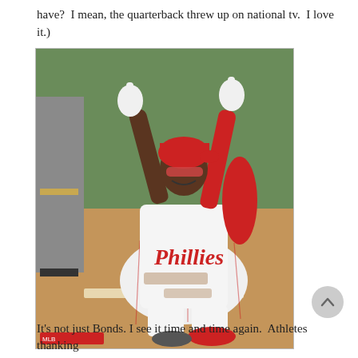have?  I mean, the quarterback threw up on national tv.  I love it.)
[Figure (photo): Philadelphia Phillies baseball player kneeling on the ground pointing both index fingers upward toward the sky in a celebratory gesture, wearing a white pinstripe Phillies uniform with red accents and white batting gloves. An umpire stands in the background to the left. The setting is a baseball field with a green outfield wall.]
It's not just Bonds. I see it time and time again.  Athletes thanking